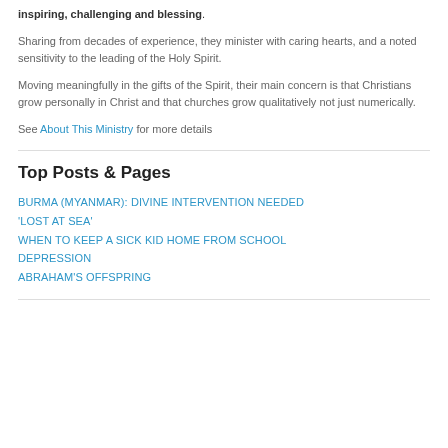inspiring, challenging and blessing.
Sharing from decades of experience, they minister with caring hearts, and a noted sensitivity to the leading of the Holy Spirit.
Moving meaningfully in the gifts of the Spirit, their main concern is that Christians grow personally in Christ and that churches grow qualitatively not just numerically.
See About This Ministry for more details
Top Posts & Pages
BURMA (MYANMAR): DIVINE INTERVENTION NEEDED
'LOST AT SEA'
WHEN TO KEEP A SICK KID HOME FROM SCHOOL
DEPRESSION
ABRAHAM'S OFFSPRING